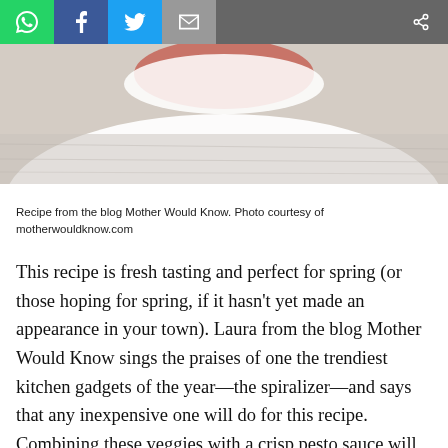[Figure (screenshot): Social media sharing bar with WhatsApp (green), Facebook (blue), Twitter (cyan), Email (grey) buttons on left, and share icon on right grey area]
[Figure (photo): Close-up photo of a white plate or bowl edge on a grey/white textured cloth background, with a red/orange food item partially visible at top]
Recipe from the blog Mother Would Know. Photo courtesy of motherwouldknow.com
This recipe is fresh tasting and perfect for spring (or those hoping for spring, if it hasn't yet made an appearance in your town). Laura from the blog Mother Would Know sings the praises of one the trendiest kitchen gadgets of the year—the spiralizer—and says that any inexpensive one will do for this recipe. Combining these veggies with a crisp pesto sauce will make for a wonderful meatless meal. Head over to the blog for the recipe here.